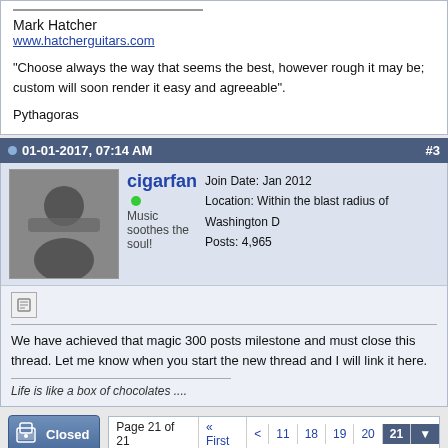Mark Hatcher
www.hatcherguitars.com

“Choose always the way that seems the best, however rough it may be; custom will soon render it easy and agreeable”.

Pythagoras
01-01-2017, 07:14 AM   #3
cigarfan
Music soothes the soul!
Join Date: Jan 2012
Location: Within the blast radius of Washington D
Posts: 4,965
We have achieved that magic 300 posts milestone and must close this thread. Let me know when you start the new thread and I will link it here.
Life is like a box of chocolates ....
Page 21 of 21  « First  <  11  18  19  20  21
The Acoustic Guitar Forum > General Acoustic Guitar and Amplification Discussion > Custom Shop